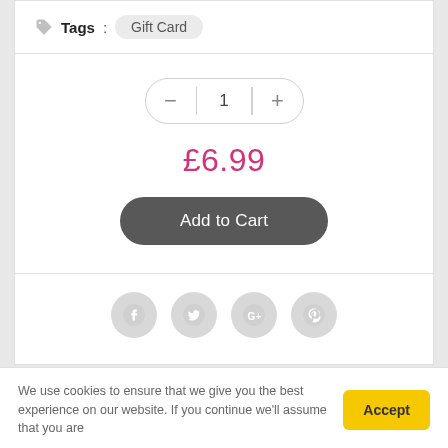Tags : Gift Card
1
£6.99
Add to Cart
[Figure (infographic): Social media share icons: Facebook, Twitter, Google+, Pinterest — all grey circles]
We use cookies to ensure that we give you the best experience on our website. If you continue we'll assume that you are
Accept